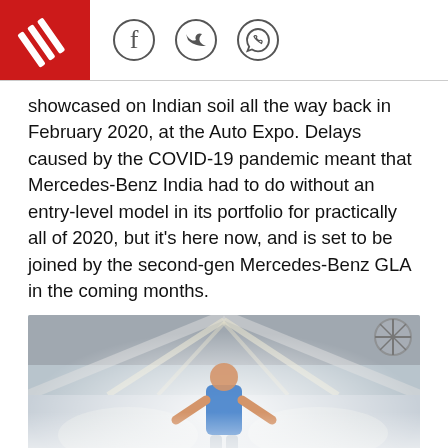showcased on Indian soil all the way back in February 2020, at the Auto Expo. Delays caused by the COVID-19 pandemic meant that Mercedes-Benz India had to do without an entry-level model in its portfolio for practically all of 2020, but it's here now, and is set to be joined by the second-gen Mercedes-Benz GLA in the coming months.
[Figure (photo): Man in blue polo shirt standing in a Mercedes-Benz manufacturing facility with cars on assembly line]
READ MORE
[Figure (infographic): Advertisement: GET moneycontrol PRO AT NET ZERO COST]
TAGS